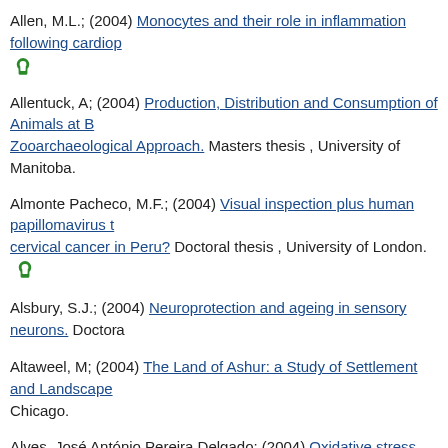Allen, M.L.; (2004) Monocytes and their role in inflammation following cardiop... [open access]
Allentuck, A; (2004) Production, Distribution and Consumption of Animals at B... Zooarchaeological Approach. Masters thesis , University of Manitoba.
Almonte Pacheco, M.F.; (2004) Visual inspection plus human papillomavirus t... cervical cancer in Peru? Doctoral thesis , University of London. [open access]
Alsbury, S.J.; (2004) Neuroprotection and ageing in sensory neurons. Doctoral...
Altaweel, M; (2004) The Land of Ashur: a Study of Settlement and Landscape... Chicago.
Alves, José António Pereira Delgado; (2004) Oxidative stress and vascular di... Erythematosus and prima Antiphospholipid Syndrome. Doctoral thesis (Ph.D)...
Ames Ramello, Patricia Paola.; (2004) Multigrade schools in context : literacy... Peruvian Amazon. Doctoral thesis , Institute of Education, University of Londo...